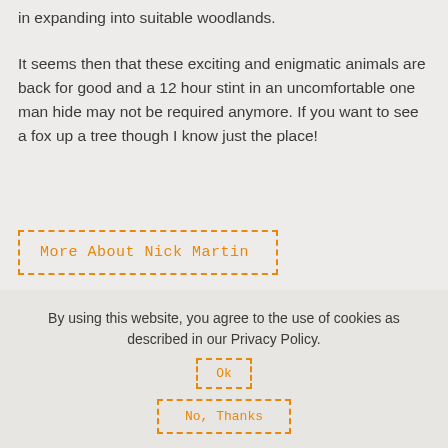in expanding into suitable woodlands.
It seems then that these exciting and enigmatic animals are back for good and a 12 hour stint in an uncomfortable one man hide may not be required anymore. If you want to see a fox up a tree though I know just the place!
More About Nick Martin
ALSO ON HTTPS://WWW.ALLTHINGSWILDLIFE.CO.UK
By using this website, you agree to the use of cookies as described in our Privacy Policy.
Ok
No, Thanks